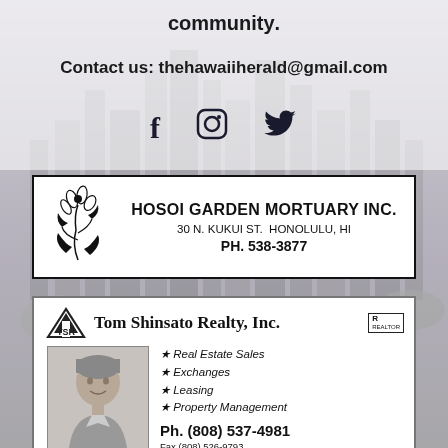community.
Contact us: thehawaiiherald@gmail.com
[Figure (other): Social media icons: Facebook (f), Instagram, Twitter bird]
[Figure (other): Hosoi Garden Mortuary Inc. advertisement. 30 N. Kukui St. Honolulu, HI. PH. 538-3877. With flower illustration.]
[Figure (other): Tom Shinsato Realty, Inc. advertisement. Real Estate Sales, Exchanges, Leasing, Property Management. Ph. (808) 537-4981, Fax (808) 526-9793, 1744 Liliha Street, Suite 306. Photo of Tom Shinsato.]